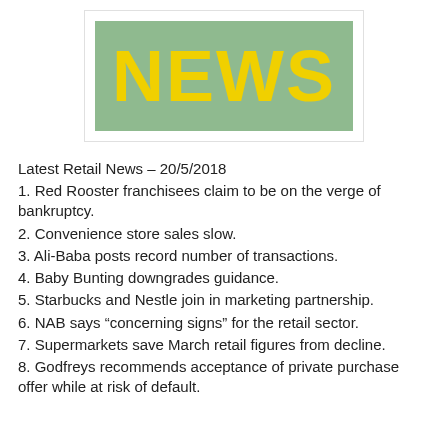[Figure (other): Green banner with yellow bold text reading NEWS on white card background]
Latest Retail News – 20/5/2018
1. Red Rooster franchisees claim to be on the verge of bankruptcy.
2. Convenience store sales slow.
3. Ali-Baba posts record number of transactions.
4. Baby Bunting downgrades guidance.
5. Starbucks and Nestle join in marketing partnership.
6. NAB says “concerning signs” for the retail sector.
7. Supermarkets save March retail figures from decline.
8. Godfreys recommends acceptance of private purchase offer while at risk of default.